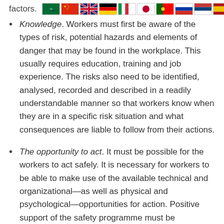factors. [flags]
Knowledge. Workers must first be aware of the types of risk, potential hazards and elements of danger that may be found in the workplace. This usually requires education, training and job experience. The risks also need to be identified, analysed, recorded and described in a readily understandable manner so that workers know when they are in a specific risk situation and what consequences are liable to follow from their actions.
The opportunity to act. It must be possible for the workers to act safely. It is necessary for workers to be able to make use of the available technical and organizational—as well as physical and psychological—opportunities for action. Positive support of the safety programme must be forthcoming from management, supervisors and the surroundings, including concern about risk taking, designing and following working methods with safety in view, safe use of the proper tools, clearly defining tasks